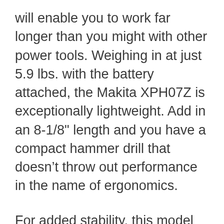will enable you to work far longer than you might with other power tools. Weighing in at just 5.9 lbs. with the battery attached, the Makita XPH07Z is exceptionally lightweight. Add in an 8-1/8" length and you have a compact hammer drill that doesn't throw out performance in the name of ergonomics.
For added stability, this model can additionally be equipped with a side handle using the built-in rig. Doing so can also add accuracy to your pounding, ensuring that you always nail spikes in at precisely the right angle. With all of this capability, I can see why